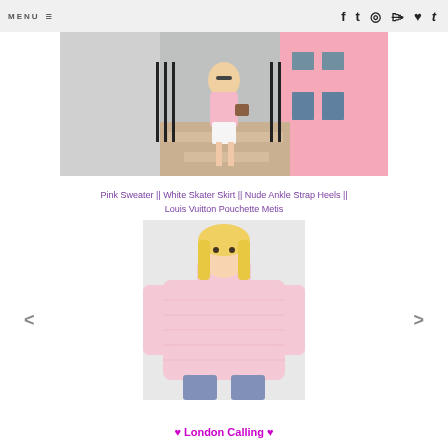MENU  ≡  [social icons: facebook, twitter, instagram, pinterest, heart, tumblr]
[Figure (photo): Woman in pink sweater and white skater skirt standing on steps in front of pink building in London]
Pink Sweater || White Skater Skirt || Nude Ankle Strap Heels || Louis Vuitton Pouchette Metis
[Figure (photo): Product shot of a pink turtleneck oversized sweater worn by a blonde model]
♥ London Calling ♥